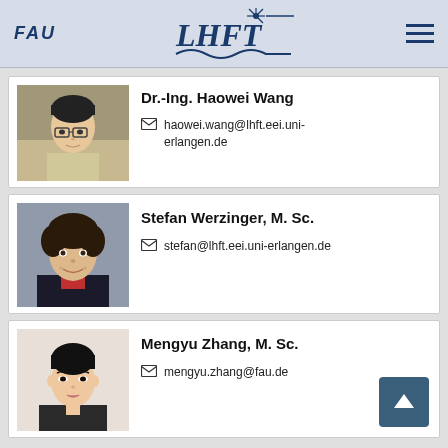FAU | LHFT | Menu
[Figure (photo): Photo of Dr.-Ing. Haowei Wang, a young Asian man wearing glasses]
Dr.-Ing. Haowei Wang
haowei.wang@lhft.eei.uni-erlangen.de
[Figure (photo): Photo of Stefan Werzinger, a young man with dark curly hair wearing a dark jacket and red shirt]
Stefan Werzinger, M. Sc.
stefan@lhft.eei.uni-erlangen.de
[Figure (photo): Photo of Mengyu Zhang, a young Asian woman with dark hair pulled back]
Mengyu Zhang, M. Sc.
mengyu.zhang@fau.de